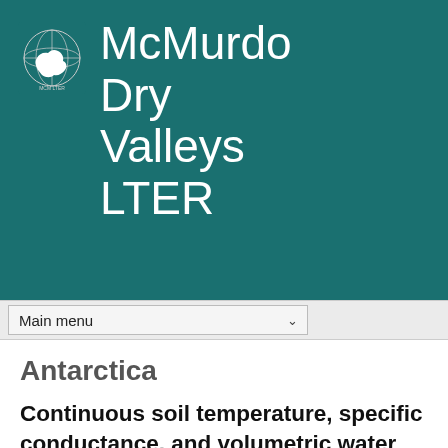McMurdo Dry Valleys LTER
[Figure (logo): McMurdo LTER logo — white outline of Antarctica continent with globe grid lines on teal background]
Main menu
Antarctica
Continuous soil temperature, specific conductance, and volumetric water content measurements from the Water Track B Active Layer Monitoring